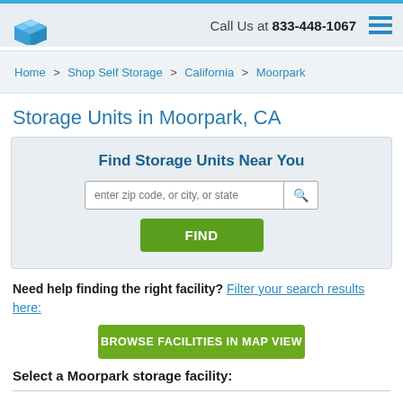Call Us at 833-448-1067
Home > Shop Self Storage > California > Moorpark
Storage Units in Moorpark, CA
[Figure (other): Search widget: Find Storage Units Near You with zip code/city/state input and FIND button]
Need help finding the right facility? Filter your search results here:
BROWSE FACILITIES IN MAP VIEW
Select a Moorpark storage facility: